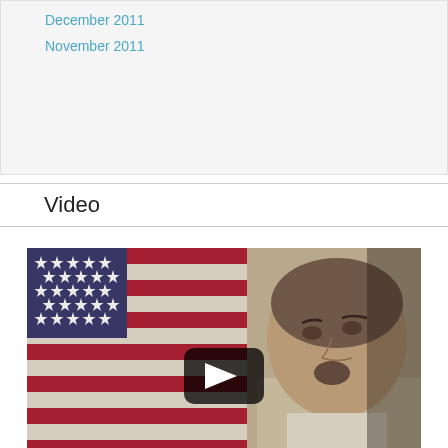December 2011
November 2011
Video
[Figure (photo): Video thumbnail showing a man in front of an American flag with a YouTube play button overlay in the center.]